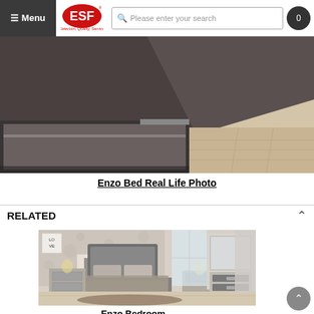Menu | ESF - Selection, Quality, Service | Please enter your search | 0
[Figure (photo): Close-up detail photo of Enzo Bed corner showing dark upholstered headboard and wooden floor]
Enzo Bed Real Life Photo
RELATED
[Figure (photo): Enzo Bedroom set photo showing grey upholstered bed with matching nightstands, dresser with mirror, decorative pillows and rug on light floor]
Enzo Bedroom